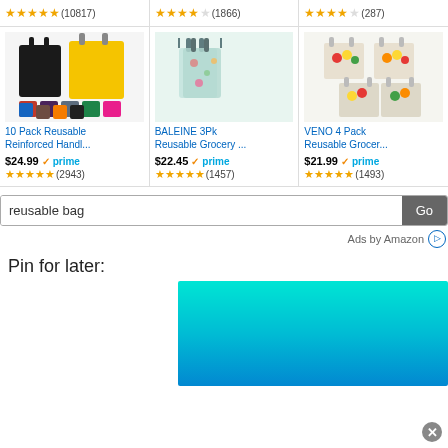[Figure (screenshot): Amazon product listing screenshot showing reusable bags with ratings, prices, search bar, and a Pinterest pin section]
(10817) (1866) (287)
[Figure (photo): 10 Pack Reusable Reinforced Handle bags in multiple colors (black, yellow, red, purple, grey, green, pink, blue, orange)]
10 Pack Reusable Reinforced Handl...
$24.99 prime (2943)
[Figure (photo): BALEINE 3Pk Reusable Grocery bags with floral pattern]
BALEINE 3Pk Reusable Grocery ...
$22.45 prime (1457)
[Figure (photo): VENO 4 Pack Reusable Grocery bags filled with fruits and vegetables]
VENO 4 Pack Reusable Grocer...
$21.99 prime (1493)
reusable bag
Ads by Amazon
Pin for later:
[Figure (photo): Cyan/turquoise water image for Pinterest pin]